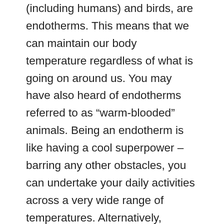(including humans) and birds, are endotherms. This means that we can maintain our body temperature regardless of what is going on around us. You may have also heard of endotherms referred to as “warm-blooded” animals. Being an endotherm is like having a cool superpower – barring any other obstacles, you can undertake your daily activities across a very wide range of temperatures. Alternatively, ectotherms (often referred to as “cold-blooded” organisms) rely heavily on their environment to control their body temperature and have to behave accordingly. This is why you may observe lizards basking on a rock, for instance; the heat from the sun is an excellent way to increase their body temperature [2]. Reptiles and most fish are ectothermic, occupying habitats that have the most appropriate temperature for their bodily functions. It is important to note here that this optimal